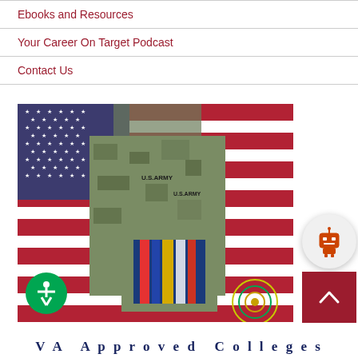Ebooks and Resources
Your Career On Target Podcast
Contact Us
[Figure (photo): A U.S. Army soldier in camouflage uniform holding textbooks, standing in front of an American flag. An InterCoast logo is visible in the bottom right of the image. An accessibility icon button is at the bottom left. A chatbot icon and scroll-up button are on the right side.]
VA Approved Colleges